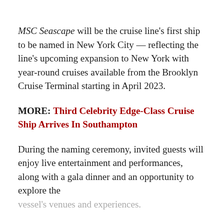MSC Seascape will be the cruise line's first ship to be named in New York City — reflecting the line's upcoming expansion to New York with year-round cruises available from the Brooklyn Cruise Terminal starting in April 2023.
MORE: Third Celebrity Edge-Class Cruise Ship Arrives In Southampton
During the naming ceremony, invited guests will enjoy live entertainment and performances, along with a gala dinner and an opportunity to explore the vessel's venues and experiences.
MSC Seascape will sail to Miami immediately...